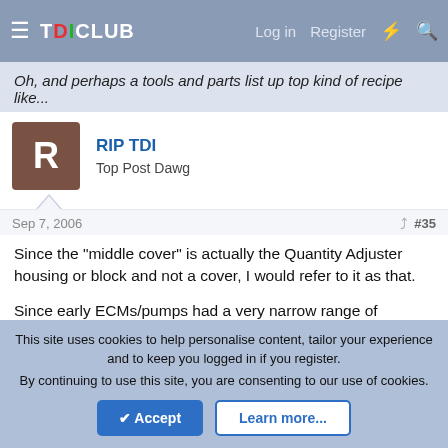TDICLUB — Log in  Register
Oh, and perhaps a tools and parts list up top kind of recipe like...
RIP TDI — Top Post Dawg
Sep 7, 2006  #35
Since the "middle cover" is actually the Quantity Adjuster housing or block and not a cover, I would refer to it as that.

Since early ECMs/pumps had a very narrow range of electronic IQ adjustment (via VAG-COM adaption) compared to the later ones, I would set IQ adaption at its "richest" ("32784" on the early cars) before adjusting IQ mechanically. That way, you'll
This site uses cookies to help personalise content, tailor your experience and to keep you logged in if you register.
By continuing to use this site, you are consenting to our use of cookies.